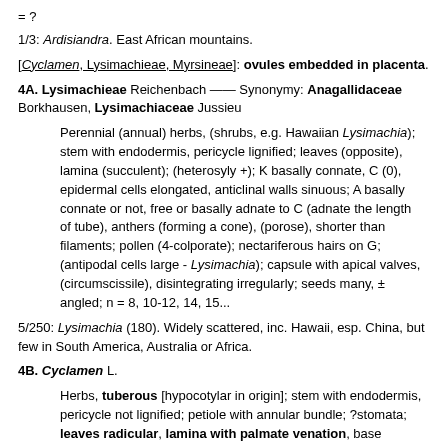= ?
1/3: Ardisiandra. East African mountains.
[Cyclamen, Lysimachieae, Myrsineae]: ovules embedded in placenta.
4A. Lysimachieae Reichenbach —— Synonymy: Anagallidaceae Borkhausen, Lysimachiaceae Jussieu
Perennial (annual) herbs, (shrubs, e.g. Hawaiian Lysimachia); stem with endodermis, pericycle lignified; leaves (opposite), lamina (succulent); (heterosyly +); K basally connate, C (0), epidermal cells elongated, anticlinal walls sinuous; A basally connate or not, free or basally adnate to C (adnate the length of tube), anthers (forming a cone), (porose), shorter than filaments; pollen (4-colporate); nectariferous hairs on G; (antipodal cells large - Lysimachia); capsule with apical valves, (circumscissile), disintegrating irregularly; seeds many, ± angled; n = 8, 10-12, 14, 15...
5/250: Lysimachia (180). Widely scattered, inc. Hawaii, esp. China, but few in South America, Australia or Africa.
4B. Cyclamen L.
Herbs, tuberous [hypocotylar in origin]; stem with endodermis, pericycle not lignified; petiole with annular bundle; ?stomata; leaves radicular, lamina with palmate venation, base cordate; flowers large [ca >2 cm long], axillary, long-pedicelate; C developing before A, reflexed, epidermal cells not elongated, anticlinal walls straight / somewhat sinuous; anthers porose, usu. shorter than filaments, adnate to G; nectary 20; style hollow, style punctate, stigma inside...